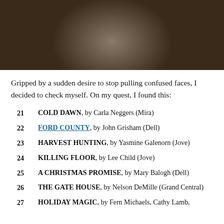[Figure (photo): Close-up photo of a man with short beard wearing a black hoodie, looking slightly downward]
Gripped by a sudden desire to stop pulling confused faces, I decided to check myself. On my quest, I found this:
21   COLD DAWN, by Carla Neggers (Mira)
22   FORD COUNTY, by John Grisham (Dell)
23   HARVEST HUNTING, by Yasmine Galenorn (Jove)
24   KILLING FLOOR, by Lee Child (Jove)
25   A CHRISTMAS PROMISE, by Mary Balogh (Dell)
26   THE GATE HOUSE, by Nelson DeMille (Grand Central)
27   HOLIDAY MAGIC, by Fern Michaels, Cathy Lamb,